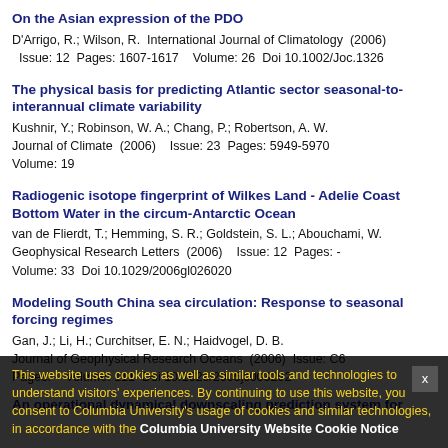On the Asian expression of the PDO
D'Arrigo, R.; Wilson, R. International Journal of Climatology (2006) Issue: 12 Pages: 1607-1617 Volume: 26 Doi 10.1002/Joc.1326
The physical basis for predicting Atlantic sector seasonal-to-interannual climate variability
Kushnir, Y.; Robinson, W. A.; Chang, P.; Robertson, A. W.
Journal of Climate (2006) Issue: 23 Pages: 5949-5970 Volume: 19
Radiogenic isotope fingerprint of Wilkes Land - Adelie Coast Bottom Water in the circum-Antarctic Ocean
van de Flierdt, T.; Hemming, S. R.; Goldstein, S. L.; Abouchami, W.
Geophysical Research Letters (2006) Issue: 12 Pages: - Volume: 33 Doi 10.1029/2006gl026020
Modeling South China sea circulation: Response to seasonal forcing regimes
Gan, J.; Li, H.; Curchitser, E. N.; Haidvogel, D. B.
Journal of Geophysical Research Oceans (2006) Issue: C6 Pages: - Volume: 111 Doi 10.1029/2005jc003292
An operational dynamical downscaling prediction system for
This website uses cookies as well as similar tools and technologies to understand visitors' experiences. By continuing to use this website, you consent to Columbia University's usage of cookies and similar technologies, in accordance with the Columbia University Website Cookie Notice